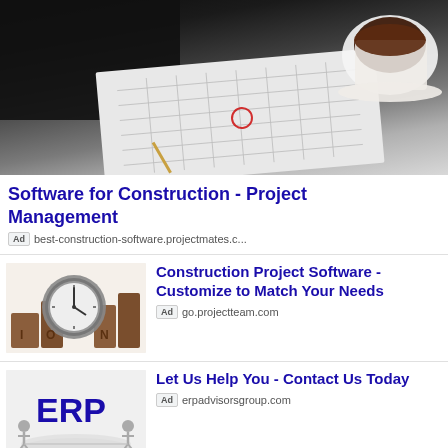[Figure (photo): Person in suit working at desk with calendar/planner and coffee cup, viewed from above]
Software for Construction - Project Management
Ad best-construction-software.projectmates.c...
[Figure (photo): Wooden blocks arranged with a clock/timer in center on white background]
Construction Project Software - Customize to Match Your Needs
Ad go.projectteam.com
[Figure (photo): ERP text in blue with grey human figure icons arranged around a circular platform]
Let Us Help You - Contact Us Today
Ad erpadvisorsgroup.com
[Figure (photo): HR button/interface with human resources text, blue digital background with thumb pressing HR]
Outside Plant Damage? - OPD Investigation and Recovery